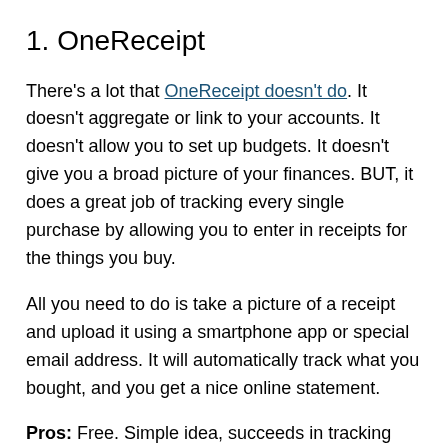1. OneReceipt
There's a lot that OneReceipt doesn't do. It doesn't aggregate or link to your accounts. It doesn't allow you to set up budgets. It doesn't give you a broad picture of your finances. BUT, it does a great job of tracking every single purchase by allowing you to enter in receipts for the things you buy.
All you need to do is take a picture of a receipt and upload it using a smartphone app or special email address. It will automatically track what you bought, and you get a nice online statement.
Pros: Free. Simple idea, succeeds in tracking spending. Good smartphone app.